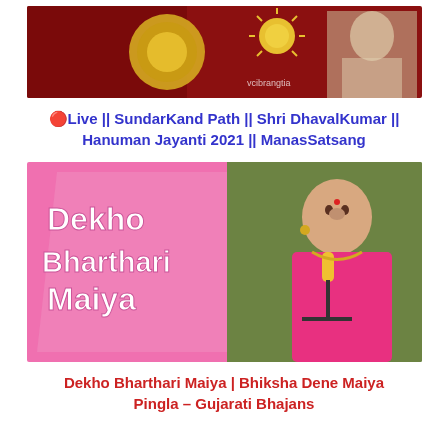[Figure (photo): Thumbnail image for a religious/devotional video - dark red background with gold decorative elements and a person's image on the right, appears to be a SundarKand Path event for Hanuman Jayanti 2021]
🔴Live || SundarKand Path || Shri DhavalKumar || Hanuman Jayanti 2021 || ManasSatsang
[Figure (photo): Thumbnail image showing text 'Dekho Bharthari Maiya' on a pink background on the left, and a woman in pink saree singing into a microphone on the right, with green foliage in the background]
Dekho Bharthari Maiya | Bhiksha Dene Maiya Pingla – Gujarati Bhajans